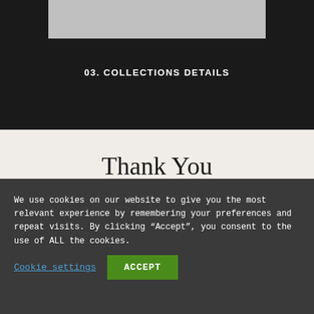[Figure (other): Gray image placeholder banner at top of dark section]
03. COLLECTIONS DETAILS
Thank You
We use cookies on our website to give you the most relevant experience by remembering your preferences and repeat visits. By clicking “Accept”, you consent to the use of ALL the cookies.
Cookie settings
ACCEPT